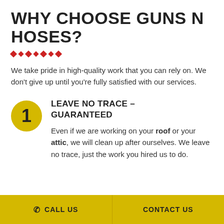WHY CHOOSE GUNS N HOSES?
[Figure (illustration): Decorative row of red diamond shapes as a divider]
We take pride in high-quality work that you can rely on. We don't give up until you're fully satisfied with our services.
1 LEAVE NO TRACE – GUARANTEED
Even if we are working on your roof or your attic, we will clean up after ourselves. We leave no trace, just the work you hired us to do.
CALL US   CONTACT US